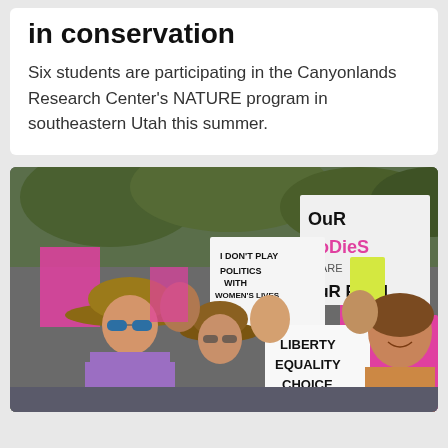in conservation
Six students are participating in the Canyonlands Research Center's NATURE program in southeastern Utah this summer.
[Figure (photo): Protest march with people holding signs including 'Our Bodies Our Right', 'Don't Play Politics With Women's Lives', 'Liberty Equality Choice', and 'It's Time to Ovary-Act'. Women in the foreground, one wearing a wide-brim hat and purple shirt, another smiling on the right.]